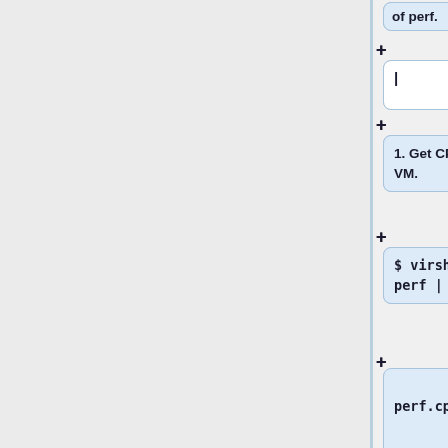of perf.
|
1. Get CPU cycles metric from VM.
$ virsh domstats U2 --perf | grep -e cpu_cycles
perf.cpu_cycles=3304247062191
2. Compare CPU cycles values from virsh and write